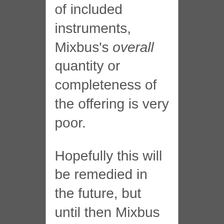of included instruments, Mixbus's overall quantity or completeness of the offering is very poor.
Hopefully this will be remedied in the future, but until then Mixbus still runs your third-party VST, AU and LV2 plug-ins just fine.
Spoiler: Overall